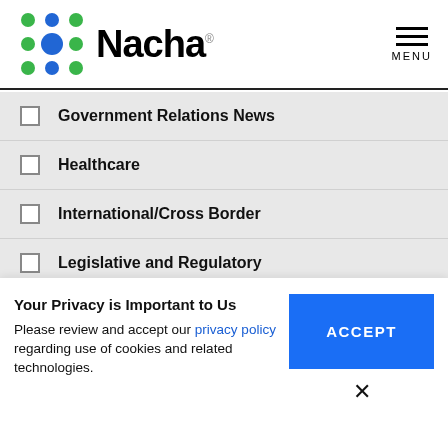[Figure (logo): Nacha logo with colorful dot pattern and bold text]
Government Relations News
Healthcare
International/Cross Border
Legislative and Regulatory
Membership
Your Privacy is Important to Us
Please review and accept our privacy policy regarding use of cookies and related technologies.